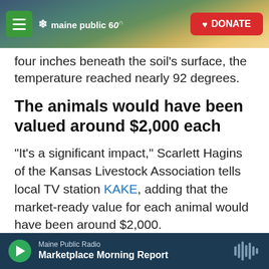maine public 60 | DONATE
four inches beneath the soil's surface, the temperature reached nearly 92 degrees.
The animals would have been valued around $2,000 each
"It's a significant impact," Scarlett Hagins of the Kansas Livestock Association tells local TV station KAKE, adding that the market-ready value for each animal would have been around $2,000.
"Any kind of animal loss is significant to a producer, to cattle feeder, to a rancher. No one wants to see any kind of loss like this," she said.
Maine Public Radio | Marketplace Morning Report